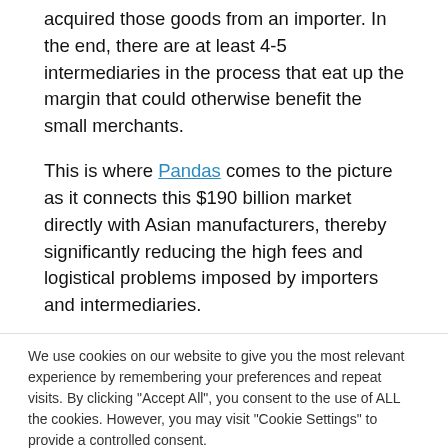acquired those goods from an importer. In the end, there are at least 4-5 intermediaries in the process that eat up the margin that could otherwise benefit the small merchants.
This is where Pandas comes to the picture as it connects this $190 billion market directly with Asian manufacturers, thereby significantly reducing the high fees and logistical problems imposed by importers and intermediaries.
We use cookies on our website to give you the most relevant experience by remembering your preferences and repeat visits. By clicking "Accept All", you consent to the use of ALL the cookies. However, you may visit "Cookie Settings" to provide a controlled consent.
30 Share | 30 | (Twitter) | in | (WhatsApp)